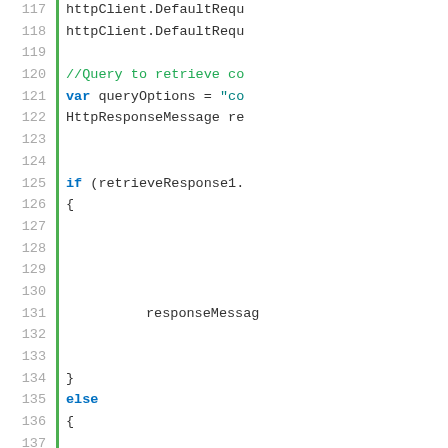[Figure (screenshot): Code editor screenshot showing C# code lines 117–142 with line numbers, a green vertical bar, and syntax highlighting. Lines include httpClient.DefaultRequ, //Query to retrieve co, var queryOptions = "co, HttpResponseMessage re, if (retrieveResponse1., {, responseMessag, }, else, {, return new BadRequ, }, closing brace and blank lines.]